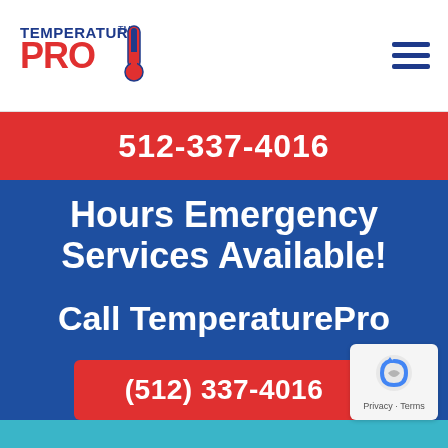[Figure (logo): TemperaturePro logo with thermometer graphic on left side of header]
[Figure (other): Hamburger menu icon (three horizontal blue lines) on right side of header]
512-337-4016
Hours Emergency Services Available!
Call TemperaturePro
(512) 337-4016
[Figure (other): Google reCAPTCHA / Privacy badge in bottom right corner showing Privacy · Terms text]